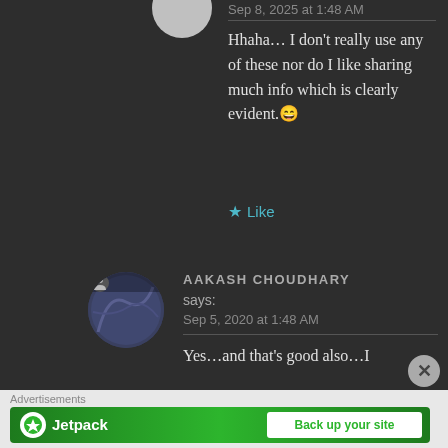Sep 8, 2020 at 1:48 AM
Hhaha… I don't really use any of these nor do I like sharing much info which is clearly evident.😄
★ Like
AAKASH CHOUDHARY says: Sep 5, 2020 at 1:48 AM
Yes…and that's good also…I
Advertisements
[Figure (screenshot): Jetpack advertisement banner with green background showing Jetpack logo and 'Back up your site' button]